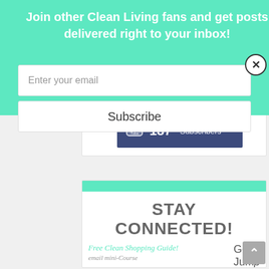Join other Clean Living fans and get posts delivered right to your inbox!
Enter your email
Subscribe
187 Subscribers
STAY CONNECTED!
Free Clean Shopping Guide! email mini-Course
Get a Jump